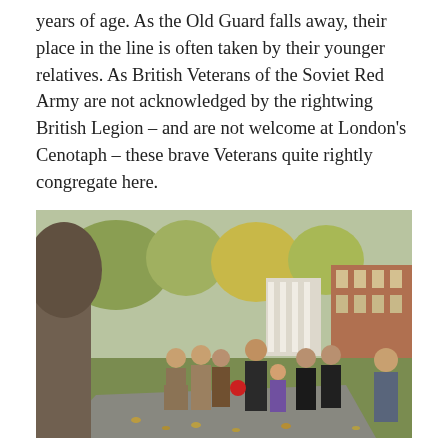years of age. As the Old Guard falls away, their place in the line is often taken by their younger relatives. As British Veterans of the Soviet Red Army are not acknowledged by the rightwing British Legion – and are not welcome at London's Cenotaph – these brave Veterans quite rightly congregate here.
[Figure (photo): Outdoor photograph showing a group of people, some in Soviet-era military coats, walking along a path in a park with autumn trees and a brick building in the background.]